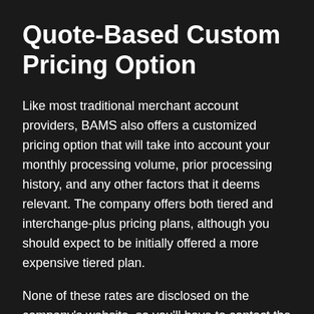Quote-Based Custom Pricing Option
Like most traditional merchant account providers, BAMS also offers a customized pricing option that will take into account your monthly processing volume, prior processing history, and any other factors that it deems relevant. The company offers both tiered and interchange-plus pricing plans, although you should expect to be initially offered a more expensive tiered plan.
None of these rates are disclosed on the company's website, so you'll have to contact the sales department and submit the relevant information about your business to obtain a quote. Be prepared to negotiate — it's almost never a good idea to blindly accept the first quote a